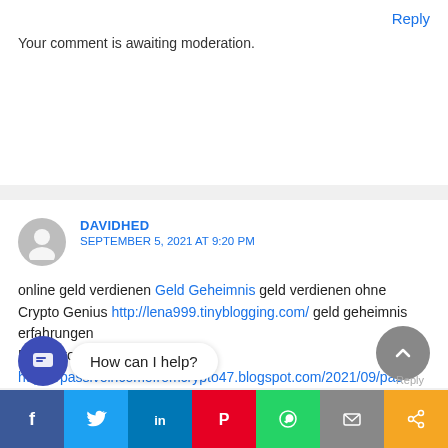Reply
Your comment is awaiting moderation.
DAVIDHED
SEPTEMBER 5, 2021 AT 9:20 PM
online geld verdienen Geld Geheimnis geld verdienen ohne Crypto Genius http://lena999.tinyblogging.com/ geld geheimnis erfahrungen
Daily Profit
https://passiveincomefromcrypto47.blogspot.com/2021/09/passive-income-from-crypto-easiest.html
How can I help?
[Figure (infographic): Social sharing bottom bar with Facebook, Twitter, LinkedIn, Pinterest, WhatsApp, Email, and Share icons]